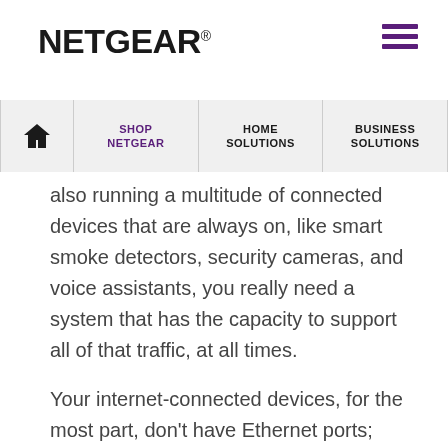NETGEAR®
SHOP NETGEAR   HOME SOLUTIONS   BUSINESS SOLUTIONS
also running a multitude of connected devices that are always on, like smart smoke detectors, security cameras, and voice assistants, you really need a system that has the capacity to support all of that traffic, at all times.
Your internet-connected devices, for the most part, don't have Ethernet ports; they rely on  WiFi. If you're paying for super-fast